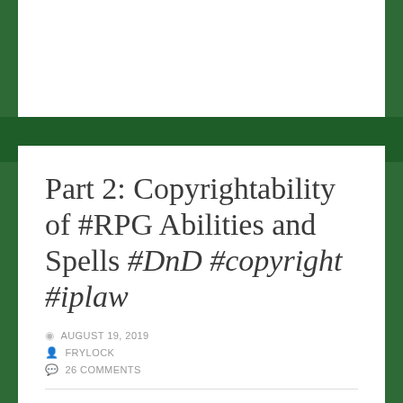Part 2: Copyrightability of #RPG Abilities and Spells #DnD #copyright #iplaw
AUGUST 19, 2019
FRYLOCK
26 COMMENTS
Part 1 | Part 2 | Part 3 | Part 3.5 | FAQ/FRI